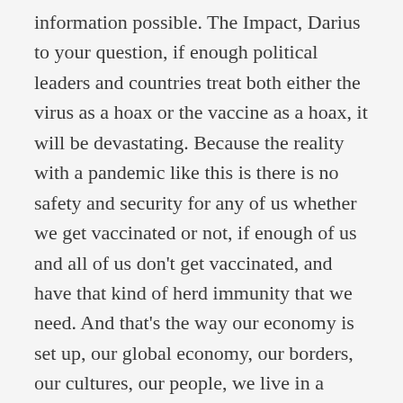information possible. The Impact, Darius to your question, if enough political leaders and countries treat both either the virus as a hoax or the vaccine as a hoax, it will be devastating. Because the reality with a pandemic like this is there is no safety and security for any of us whether we get vaccinated or not, if enough of us and all of us don't get vaccinated, and have that kind of herd immunity that we need. And that's the way our economy is set up, our global economy, our borders, our cultures, our people, we live in a global society. So this is happening here in the United States, you don't have to go very far to see, with pockets of that here in the United States, as well. So I think there's a real challenge we're facing in our society, broader Irina,